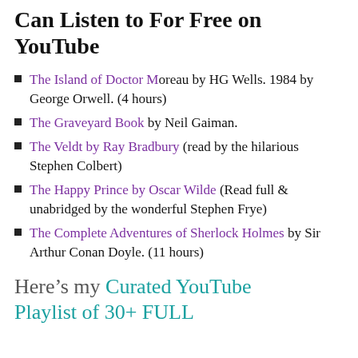Can Listen to For Free on YouTube
The Island of Doctor Moreau by HG Wells. 1984 by George Orwell. (4 hours)
The Graveyard Book by Neil Gaiman.
The Veldt by Ray Bradbury (read by the hilarious Stephen Colbert)
The Happy Prince by Oscar Wilde (Read full & unabridged by the wonderful Stephen Frye)
The Complete Adventures of Sherlock Holmes by Sir Arthur Conan Doyle. (11 hours)
Here’s my Curated YouTube Playlist of 30+ FULL